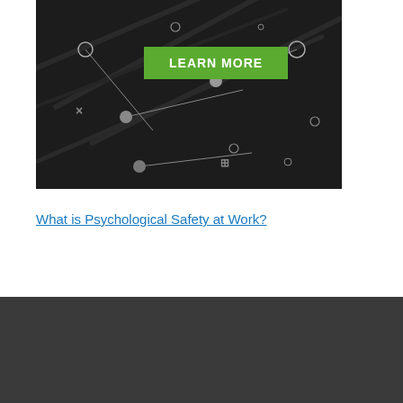[Figure (illustration): Dark banner image with circuit/network lines and circles on black background, with a green LEARN MORE button]
What is Psychological Safety at Work?
[Figure (infographic): Dark gray advertisement bar with Search for label, eye icon, two numbered list items (1. FORKLIFT OPERATOR TRAINING, 2. EMPLOYEE TRAINING CHECKLIST) with chevron arrows, and a send/arrow icon at bottom right]